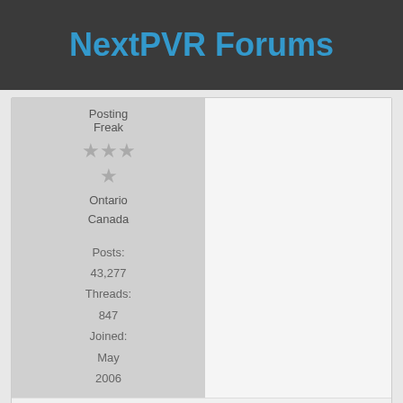NextPVR Forums
Posting Freak
Ontario
Canada
Posts: 43,277
Threads: 847
Joined: May 2006
sub
Offline
2020-12-28, 05:06 AM  #5
If you want to zip and attach the results...